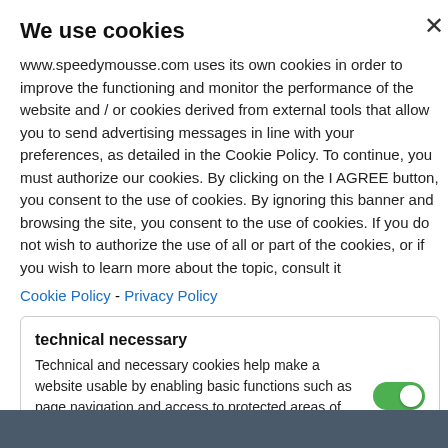We use cookies
www.speedymousse.com uses its own cookies in order to improve the functioning and monitor the performance of the website and / or cookies derived from external tools that allow you to send advertising messages in line with your preferences, as detailed in the Cookie Policy. To continue, you must authorize our cookies. By clicking on the I AGREE button, you consent to the use of cookies. By ignoring this banner and browsing the site, you consent to the use of cookies. If you do not wish to authorize the use of all or part of the cookies, or if you wish to learn more about the topic, consult it
Cookie Policy - Privacy Policy
technical necessary
Technical and necessary cookies help make a website usable by enabling basic functions such as page navigation and access to protected areas of the website. The website cannot function properly without these cookies.
ACCEPT THE NECESSARY COOKIES